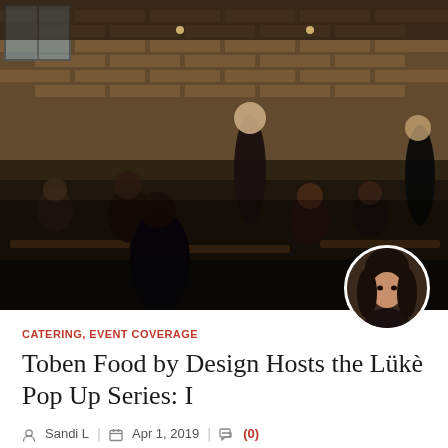[Figure (photo): Indoor restaurant dining scene with brick walls, people seated at long tables, a bald man in black standing, and waitstaff serving guests in dim warm lighting.]
[Figure (photo): Circular avatar portrait of a woman with long dark hair against a dark background.]
CATERING, EVENT COVERAGE
Toben Food by Design Hosts the Lükè Pop Up Series: I
Sandi L   Apr 1, 2019   (0)
this past Friday, I had the pleasure of